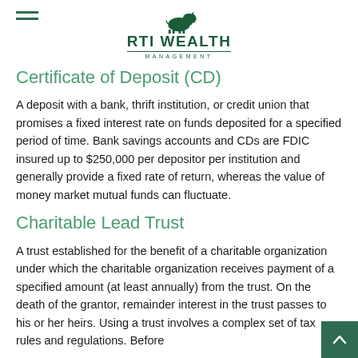RTI WEALTH MANAGEMENT
Certificate of Deposit (CD)
A deposit with a bank, thrift institution, or credit union that promises a fixed interest rate on funds deposited for a specified period of time. Bank savings accounts and CDs are FDIC insured up to $250,000 per depositor per institution and generally provide a fixed rate of return, whereas the value of money market mutual funds can fluctuate.
Charitable Lead Trust
A trust established for the benefit of a charitable organization under which the charitable organization receives payment of a specified amount (at least annually) from the trust. On the death of the grantor, remainder interest in the trust passes to his or her heirs. Using a trust involves a complex set of tax rules and regulations. Before